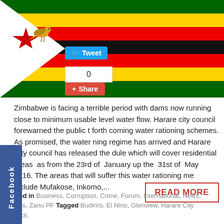[Figure (illustration): Zimbabwe flag with social media buttons (Tweet button, share count of 0, and a Share button) overlaid on the flag image]
Zimbabwe is facing a terrible period with dams now running close to minimum usable level water flow. Harare city council forewarned the public t forth coming water rationing schemes. As promised, the water ning regime has arrived and Harare City council has released the dule which will cover residential areas as from the 23rd of January up the 31st of May 2016. The areas that will suffer this water rationing me include Mufakose, Inkomo,...
READ MORE
Posted in Business, Corruption, Crime, Forum, International, News, Politics, Zanu PF Tagged Budiriro, El Nino, Glenview, Harare City Council,